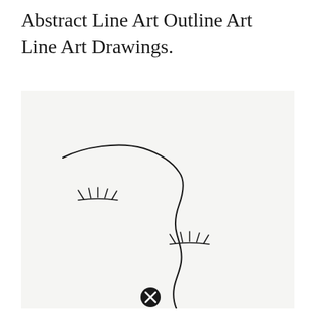Abstract Line Art Outline Art Line Art Drawings.
[Figure (illustration): Abstract one-line art drawing of a side profile face with closed eyes and eyelashes, rendered as a continuous flowing line with wavy contours suggesting a nose and lips. A watermark/close icon circle with X is visible at the bottom center.]